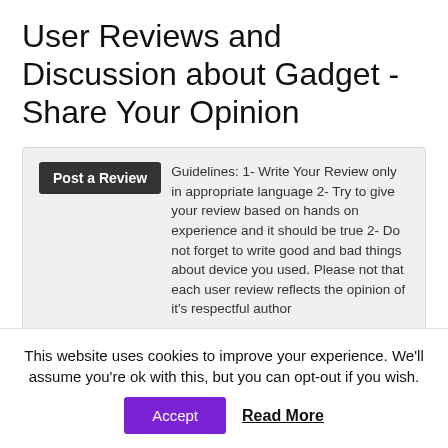User Reviews and Discussion about Gadget - Share Your Opinion
Post a Review  Guidelines: 1- Write Your Review only in appropriate language 2- Try to give your review based on hands on experience and it should be true 2- Do not forget to write good and bad things about device you used. Please not that each user review reflects the opinion of it's respectful author
Sugam
Posted on February 20, 2018 at 4:25 pm
This website uses cookies to improve your experience. We'll assume you're ok with this, but you can opt-out if you wish.
Accept   Read More